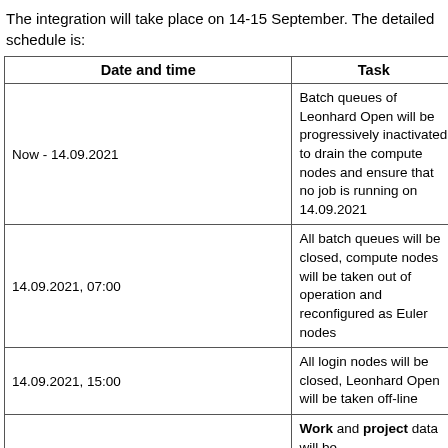The integration will take place on 14-15 September. The detailed schedule is:
| Date and time | Task |
| --- | --- |
| Now - 14.09.2021 | Batch queues of Leonhard Open will be progressively inactivated to drain the compute nodes and ensure that no job is running on 14.09.2021 |
| 14.09.2021, 07:00 | All batch queues will be closed, compute nodes will be taken out of operation and reconfigured as Euler nodes |
| 14.09.2021, 15:00 | All login nodes will be closed, Leonhard Open will be taken off-line |
| 14.09.2021, 15:00 - 15.09.2021, 12:00 (noon) | Work and project data will be transferred/synchronized from Leonhard Open to Euler |
| 15.09.2021, 12:00 | Leonhard Open users will find their data in Euler under the usual path (with a few exceptions) |
| 15.09.2021, 12:00 | The login nodes of Leonhard Open will be reopened for one month to allow users to copy data in their "home" and "scratch" directories (if needed) |